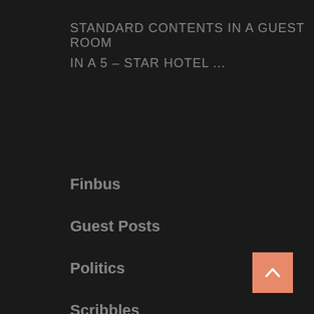STANDARD CONTENTS IN A GUEST ROOM IN A 5 – STAR HOTEL ...
Finbus
Guest Posts
Politics
Scribbles
Features
_RightSidebar
_LeftSidbar
_NoSidebar
[Figure (other): Orange back-to-top button with upward chevron arrow]